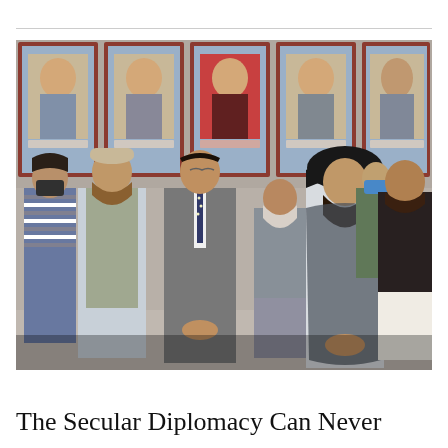[Figure (photo): Group photo of seven men standing in front of a building with red-framed windows and portrait photographs displayed. The man in the center wears a grey suit and tie. Others are dressed in traditional Afghan attire and Western clothing. One person in the back wears a blue medical mask. A man in a black turban and white shalwar kameez stands to the right of center. The building facade has red framing with large portrait photos mounted inside.]
The Secular Diplomacy Can Never